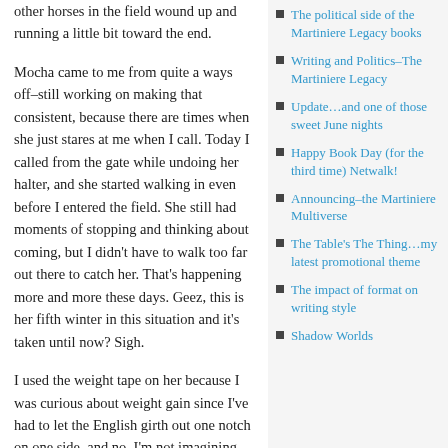other horses in the field wound up and running a little bit toward the end.
Mocha came to me from quite a ways off–still working on making that consistent, because there are times when she just stares at me when I call. Today I called from the gate while undoing her halter, and she started walking in even before I entered the field. She still had moments of stopping and thinking about coming, but I didn't have to walk too far out there to catch her. That's happening more and more these days. Geez, this is her fifth winter in this situation and it's taken until now? Sigh.
I used the weight tape on her because I was curious about weight gain since I've had to let the English girth out one notch on one side, and no, I'm not imagining it–she's up to about 1050-1060 lbs, from about 950-975 last fall
The political side of the Martiniere Legacy books
Writing and Politics–The Martiniere Legacy
Update…and one of those sweet June nights
Happy Book Day (for the third time) Netwalk!
Announcing–the Martiniere Multiverse
The Table's The Thing…my latest promotional theme
The impact of format on writing style
Shadow Worlds